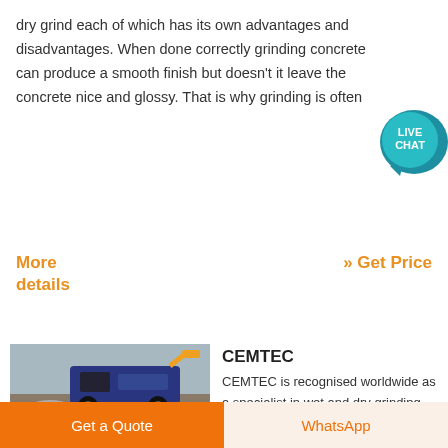dry grind each of which has its own advantages and disadvantages. When done correctly grinding concrete can produce a smooth finish but doesn't it leave the concrete nice and glossy. That is why grinding is often
[Figure (other): Live Chat button — teal circular badge with chat bubble icon and text 'LIVE CHAT']
More details
» Get Price
[Figure (photo): Industrial crushing/grinding machine (blue) surrounded by rubble/rocks on a job site]
CEMTEC
CEMTEC is recognised worldwide as a specialist in wet and dry grinding technologies for the most wide ranging bulk materials industrial minerals and ore. In
Get a Quote
WhatsApp